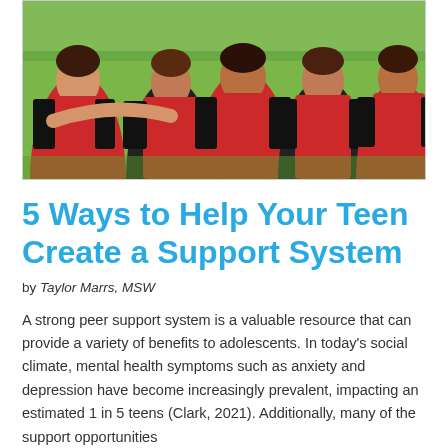[Figure (photo): Group of teen girls in red and black sports jerseys hugging each other outdoors on grass]
5 Ways to Help Your Teen Create a Support System
by Taylor Marrs, MSW
A strong peer support system is a valuable resource that can provide a variety of benefits to adolescents. In today's social climate, mental health symptoms such as anxiety and depression have become increasingly prevalent, impacting an estimated 1 in 5 teens (Clark, 2021). Additionally, many of the support opportunities